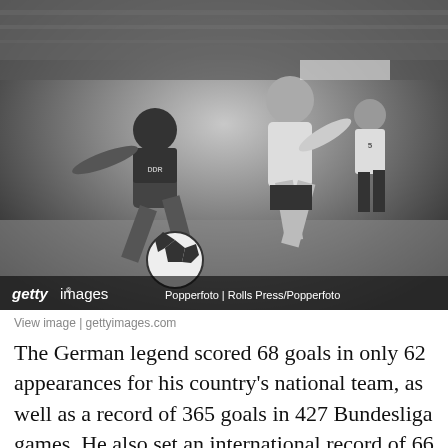[Figure (photo): Black and white photograph of a soccer match, showing players in action on the field. One player wearing a DDR jersey is challenging another player in a white uniform. A football is visible in the foreground. Getty Images watermark visible with credit: Popperfoto | Rolls Press/Popperfoto]
View image | gettyimages.com
The German legend scored 68 goals in only 62 appearances for his country's national team, as well as a record of 365 goals in 427 Bundesliga games. He also set an international record of 66 goals in 74 European club games during his career. Muller currently sits at 11th place among all time international goal scorers. He was named